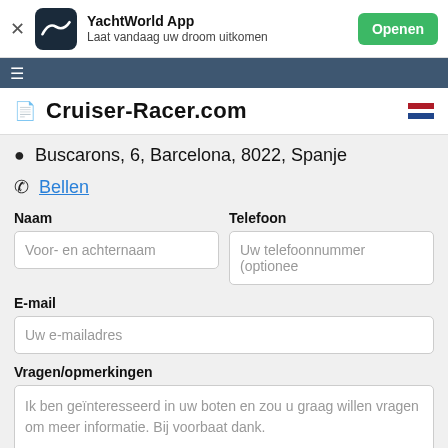YachtWorld App — Laat vandaag uw droom uitkomen — Openen
Cruiser-Racer.com
Buscarons, 6, Barcelona, 8022, Spanje
Bellen
Naam
Voor- en achternaam
Telefoon
Uw telefoonnummer (optionee
E-mail
Uw e-mailadres
Vragen/opmerkingen
Ik ben geïnteresseerd in uw boten en zou u graag willen vragen om meer informatie. Bij voorbaat dank.
Verstuur e-mail